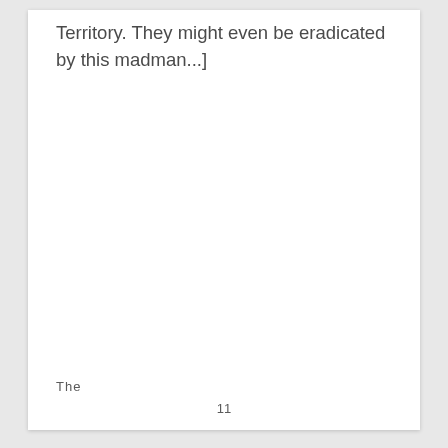Territory. They might even be eradicated by this madman...]
The                                                    —
11